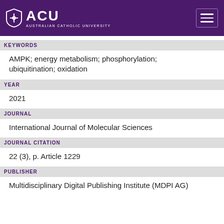[Figure (logo): ACU (Australian Catholic University) logo with shield icon on purple background with hamburger menu button]
KEYWORDS
AMPK; energy metabolism; phosphorylation; ubiquitination; oxidation
YEAR
2021
JOURNAL
International Journal of Molecular Sciences
JOURNAL CITATION
22 (3), p. Article 1229
PUBLISHER
Multidisciplinary Digital Publishing Institute (MDPI AG)